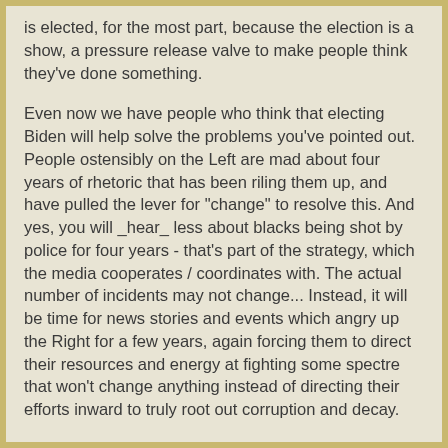is elected, for the most part, because the election is a show, a pressure release valve to make people think they've done something.
Even now we have people who think that electing Biden will help solve the problems you've pointed out. People ostensibly on the Left are mad about four years of rhetoric that has been riling them up, and have pulled the lever for "change" to resolve this. And yes, you will _hear_ less about blacks being shot by police for four years - that's part of the strategy, which the media cooperates / coordinates with. The actual number of incidents may not change... Instead, it will be time for news stories and events which angry up the Right for a few years, again forcing them to direct their resources and energy at fighting some spectre that won't change anything instead of directing their efforts inward to truly root out corruption and decay.
There is no protest. Protests are just the establishment throwing a different sort of parade, celebrating their power by demonstrating what